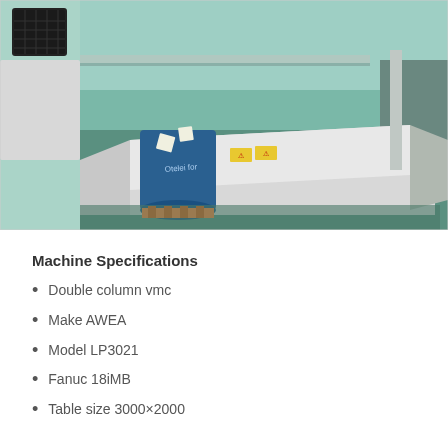[Figure (photo): Industrial machine (Double column VMC, AWEA LP3021) in a factory/workshop setting. A large white machining unit lies on a green floor. A blue barrel is visible nearby. Walls are light teal/green.]
Machine Specifications
Double column vmc
Make AWEA
Model LP3021
Fanuc 18iMB
Table size 3000×2000